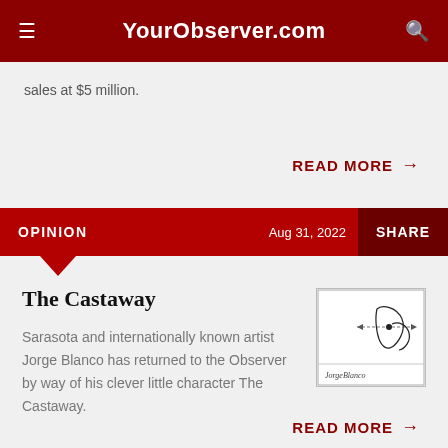YourObserver.com
sales at $5 million.
READ MORE →
OPINION   Aug 31, 2022   SHARE
The Castaway
[Figure (illustration): A line drawing cartoon illustration signed by Jorge Blanco, showing a small figure on an island with abstract shapes.]
Sarasota and internationally known artist Jorge Blanco has returned to the Observer by way of his clever little character The Castaway.
READ MORE →